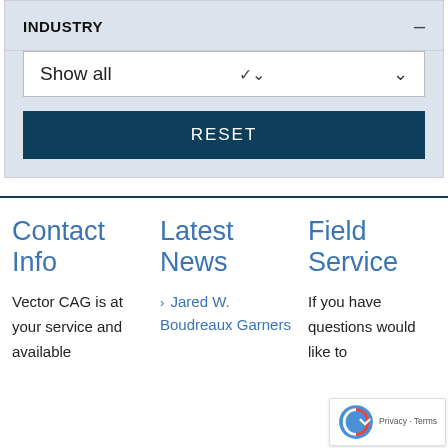INDUSTRY
Show all
RESET
Contact Info
Latest News
Field Service
Vector CAG is at your service and available
Jared W. Boudreaux Garners
If you have questions would like to